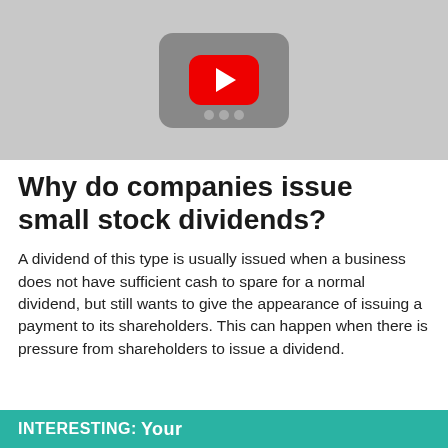[Figure (screenshot): YouTube video thumbnail showing a YouTube play button (red rounded rectangle with white triangle) on a dark grey rounded rectangle background, with grey dots below, all on a light grey background.]
Why do companies issue small stock dividends?
A dividend of this type is usually issued when a business does not have sufficient cash to spare for a normal dividend, but still wants to give the appearance of issuing a payment to its shareholders. This can happen when there is pressure from shareholders to issue a dividend.
INTERESTING: Your